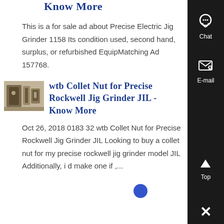Know More
This is a for sale ad about Precise Electric Jig Grinder 1158 Its condition used, second hand, surplus, or refurbished EquipMatching Ad 157768.
[Figure (photo): Thumbnail photo of industrial jig grinder equipment]
wtb Collet Nut for Precise Rockwell Jig Grinder JIL - Know More
Oct 26, 2018 0183 32 wtb Collet Nut for Precise Rockwell Jig Grinder JIL Looking to buy a collet nut for my precise rockwell jig grinder model JIL Additionally, i d make one if ,...